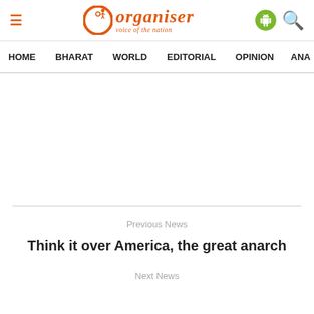Organiser - voice of the nation
HOME   BHARAT   WORLD   EDITORIAL   OPINION   ANA
[Figure (other): White advertisement/content area]
Previous News
Think it over America, the great anarch
Next News